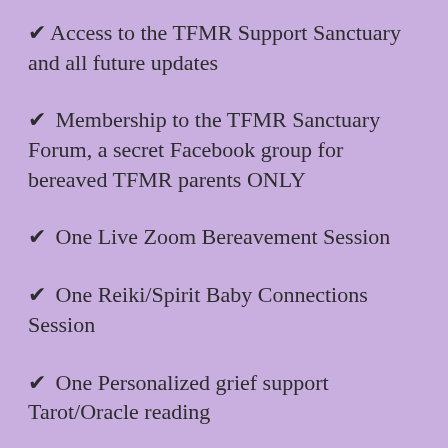✔ Access to the TFMR Support Sanctuary and all future updates
✔ Membership to the TFMR Sanctuary Forum, a secret Facebook group for bereaved TFMR parents ONLY
✔ One Live Zoom Bereavement Session
✔ One Reiki/Spirit Baby Connections Session
✔ One Personalized grief support Tarot/Oracle reading
✔ 1 month of private chat/voice note bereavement doula support